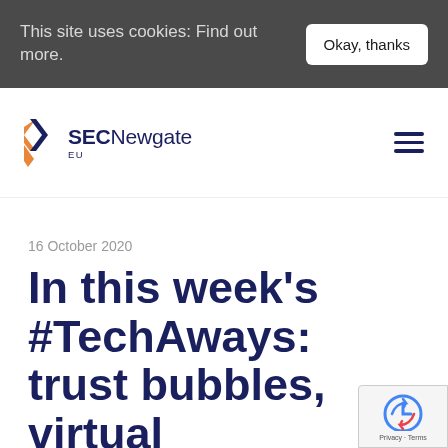This site uses cookies: Find out more.
Okay, thanks
[Figure (logo): SECNewgate EU logo with orange and blue chevron icon and dark blue text]
16 October 2020
In this week's #TechAways: trust bubbles, virtual